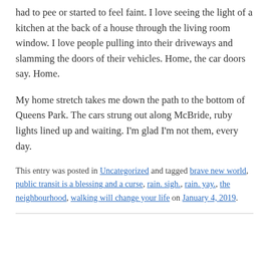had to pee or started to feel faint. I love seeing the light of a kitchen at the back of a house through the living room window. I love people pulling into their driveways and slamming the doors of their vehicles. Home, the car doors say. Home.
My home stretch takes me down the path to the bottom of Queens Park. The cars strung out along McBride, ruby lights lined up and waiting. I'm glad I'm not them, every day.
This entry was posted in Uncategorized and tagged brave new world, public transit is a blessing and a curse, rain. sigh., rain. yay., the neighbourhood, walking will change your life on January 4, 2019.